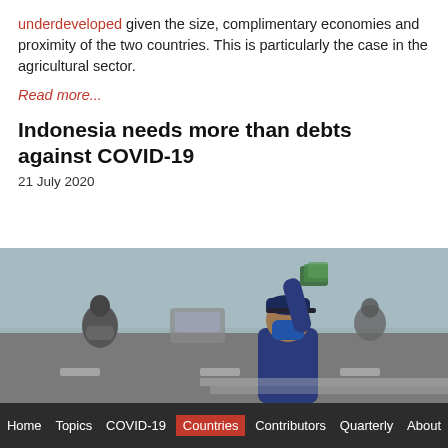underdeveloped given the size, complimentary economies and proximity of the two countries. This is particularly the case in the agricultural sector.
Read more...
Indonesia needs more than debts against COVID-19
21 July 2020
[Figure (photo): Person wearing a blue face mask and cap, standing on a street raising their hand holding banknotes, with motorcyclists visible in the blurred background.]
Home  Topics  COVID-19  Countries  Contributors  Quarterly  About